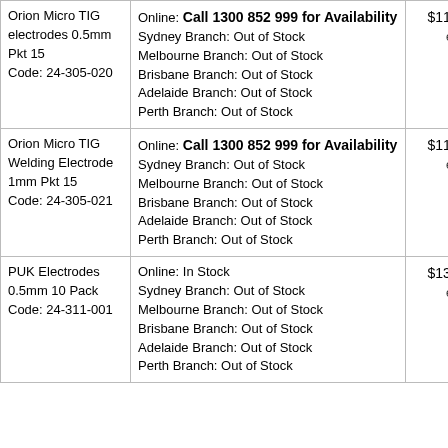| Product | Availability | Price |  |
| --- | --- | --- | --- |
| Orion Micro TIG electrodes 0.5mm Pkt 15
Code: 24-305-020 | Online: Call 1300 852 999 for Availability
Sydney Branch: Out of Stock
Melbourne Branch: Out of Stock
Brisbane Branch: Out of Stock
Adelaide Branch: Out of Stock
Perth Branch: Out of Stock | $115.00 ex gst |  |
| Orion Micro TIG Welding Electrode 1mm Pkt 15
Code: 24-305-021 | Online: Call 1300 852 999 for Availability
Sydney Branch: Out of Stock
Melbourne Branch: Out of Stock
Brisbane Branch: Out of Stock
Adelaide Branch: Out of Stock
Perth Branch: Out of Stock | $115.00 ex gst |  |
| PUK Electrodes 0.5mm 10 Pack
Code: 24-311-001 | Online: In Stock
Sydney Branch: Out of Stock
Melbourne Branch: Out of Stock
Brisbane Branch: Out of Stock
Adelaide Branch: Out of Stock
Perth Branch: Out of Stock | $139.80 ex gst |  |